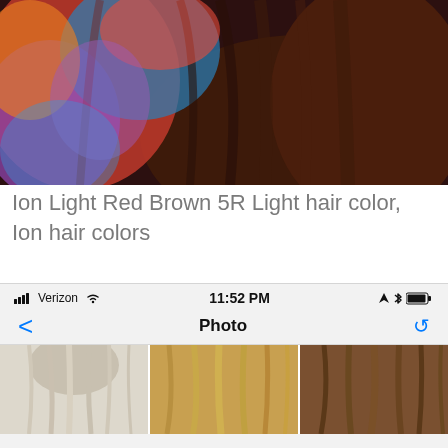[Figure (photo): Top portion of a webpage showing a photo of dark brown hair with colorful (red, blue, purple, orange) highlights or color splash overlay.]
Ion Light Red Brown 5R Light hair color, Ion hair colors
[Figure (screenshot): iPhone screenshot showing Verizon carrier, 11:52 PM time, navigation bar with back arrow and 'Photo' title and refresh icon, and a gallery of three hair photos: platinum blonde, golden blonde, and light brown hair.]